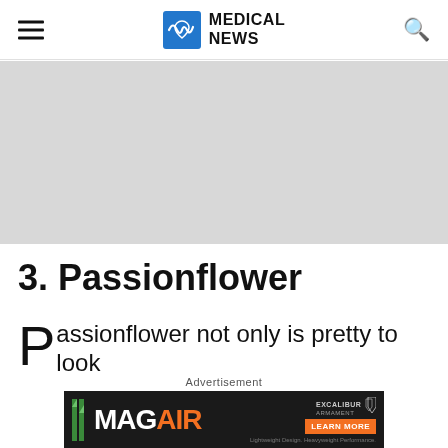MEDICAL NEWS
[Figure (photo): Grey placeholder image banner]
3. Passionflower
Passionflower not only is pretty to look
Advertisement
[Figure (other): MAGAIR advertisement banner - Lightweight Design. Heavyweight Performance. Learn More. Excalibur Armament logo.]